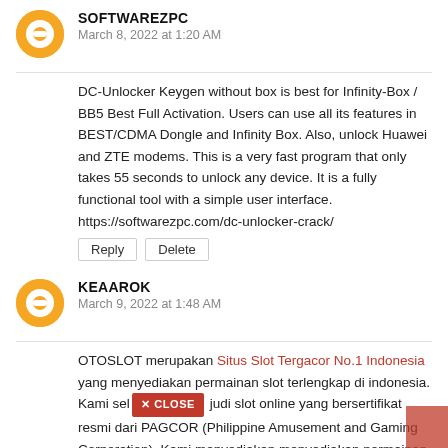[Figure (illustration): Orange circular Blogger avatar icon for user SOFTWAREZPC]
SOFTWAREZPC
March 8, 2022 at 1:20 AM
DC-Unlocker Keygen without box is best for Infinity-Box / BB5 Best Full Activation. Users can use all its features in BEST/CDMA Dongle and Infinity Box. Also, unlock Huawei and ZTE modems. This is a very fast program that only takes 55 seconds to unlock any device. It is a fully functional tool with a simple user interface. https://softwarezpc.com/dc-unlocker-crack/
Reply
Delete
[Figure (illustration): Orange circular Blogger avatar icon for user KEAAROK]
KEAAROK
March 9, 2022 at 1:48 AM
OTOSLOT merupakan Situs Slot Tergacor No.1 Indonesia yang menyediakan permainan slot terlengkap di indonesia. Kami selalu menjadi judi slot online yang bersertifikat resmi dari PAGCOR (Philippine Amusement and Gaming Corporation). Kami menyediakan menyediakan permainan super lengkap dalam 1 platform seperti, Permainan Slot, Tembak Ikan, Sabung Ayam, Live Casino, Dindong, Tangkas, E-Spot dan Mini Games Lainya.
[Figure (screenshot): Red CLOSE button overlay]